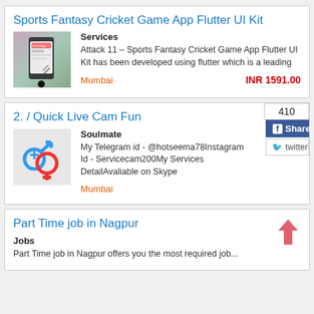Sports Fantasy Cricket Game App Flutter UI Kit
Services
Attack 11 – Sports Fantasy Cricket Game App Flutter UI Kit has been developed using flutter which is a leading
Mumbai
INR 1591.00
2. / Quick Live Cam Fun
410
Share
twitter
Soulmate
My Telegram id - @hotseema78Instagram Id - Servicecam200My Services DetailAvaliable on Skype
Mumbai
Part Time job in Nagpur
Jobs
Part Time job in Nagpur offers you the most required job...